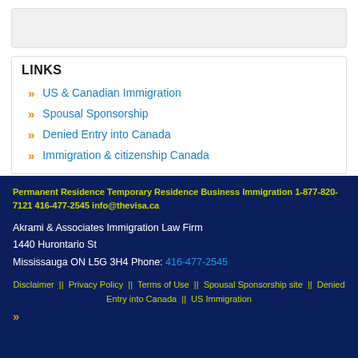LINKS
US & Canadian Immigration
Spousal Sponsorship
Denied Entry into Canada
Immigration & citizenship Canada
Permanent Residence Temporary Residence Business Immigration 1-877-820-7121 416-477-2545 info@thevisa.ca
Akrami & Associates Immigration Law Firm
1440 Hurontario St
Mississauga ON L5G 3H4 Phone: 416-477-2545
Disclaimer || Privacy Policy || Terms of Use || Spousal Sponsorship site || Denied Entry into Canada || US Immigration